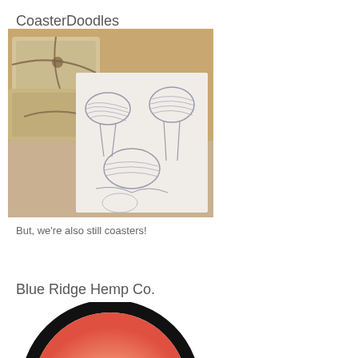CoasterDoodles
[Figure (photo): Photo of wrapped packages tied with twine in a cardboard box, with a coaster showing a pencil sketch of mushrooms placed on top]
But, we're also still coasters!
Blue Ridge Hemp Co.
[Figure (logo): Partial circular logo with black border and red-to-cream gradient fill, partially visible at bottom of page]